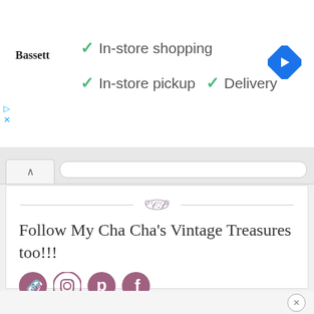[Figure (screenshot): Bassett furniture ad banner with green checkmarks showing In-store shopping, In-store pickup, and Delivery options, plus a blue navigation/map icon on the right]
✓ In-store shopping
✓ In-store pickup  ✓ Delivery
[Figure (screenshot): Browser UI elements: tab with up-arrow and URL bar]
Follow My Cha Cha's Vintage Treasures too!!!
[Figure (infographic): Social media icons: link/chain icon, Instagram, Pinterest, Facebook in purple/mauve color]
[Figure (screenshot): Bottom close (X) button in a circle]